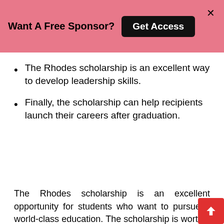Want A Free Sponsor? Get Access
The Rhodes scholarship is an excellent way to develop leadership skills.
Finally, the scholarship can help recipients launch their careers after graduation.
The Rhodes scholarship is an excellent opportunity for students who want to pursue a world-class education. The scholarship is worth it because it provides recipients with the opportunity to receive a world-class education, meet and network with other scholars from around the world, develop leadership skills, and launch their careers after graduation.